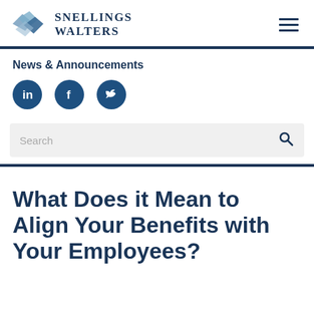SNELLINGS WALTERS
News & Announcements
[Figure (logo): Social media icons: LinkedIn, Facebook, Twitter (circular dark blue buttons)]
[Figure (screenshot): Search bar with placeholder text 'Search' and search icon]
What Does it Mean to Align Your Benefits with Your Employees?